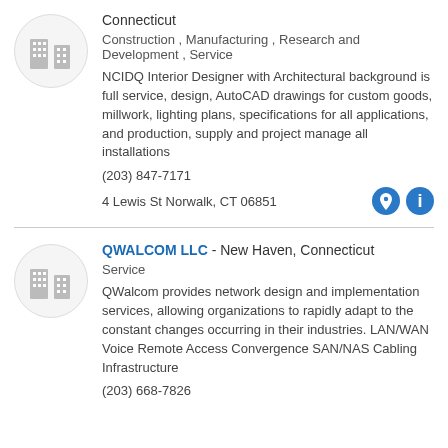[Figure (logo): Building/office icon in a circle for first listing]
Connecticut
Construction , Manufacturing , Research and Development , Service
NCIDQ Interior Designer with Architectural background is full service, design, AutoCAD drawings for custom goods, millwork, lighting plans, specifications for all applications, and production, supply and project manage all installations
(203) 847-7171
4 Lewis St Norwalk, CT 06851
[Figure (logo): Building/office icon in a circle for second listing]
QWALCOM LLC - New Haven, Connecticut
Service
QWalcom provides network design and implementation services, allowing organizations to rapidly adapt to the constant changes occurring in their industries. LAN/WAN Voice Remote Access Convergence SAN/NAS Cabling Infrastructure
(203) 668-7826